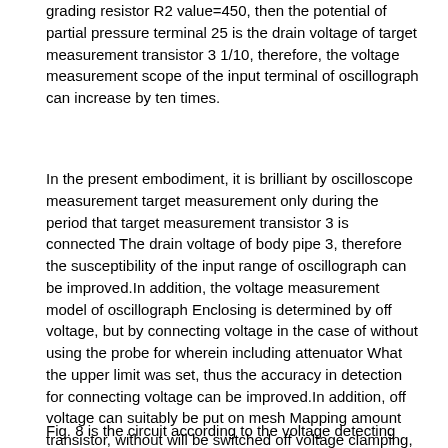grading resistor R2 value=450, then the potential of partial pressure terminal 25 is the drain voltage of target measurement transistor 3 1/10, therefore, the voltage measurement scope of the input terminal of oscillograph can increase by ten times.
In the present embodiment, it is brilliant by oscilloscope measurement target measurement only during the period that target measurement transistor 3 is connected The drain voltage of body pipe 3, therefore the susceptibility of the input range of oscillograph can be improved.In addition, the voltage measurement model of oscillograph Enclosing is determined by off voltage, but by connecting voltage in the case of without using the probe for wherein including attenuator What the upper limit was set, thus the accuracy in detection for connecting voltage can be improved.In addition, off voltage can suitably be put on mesh Mapping amount transistor, without will be switched off voltage clamping, so as to set the voltage measurement scope of oscillograph and make it possible to hold Row connects the appropriate and accurate voltage detecting of voltage.
Fig. 8 is the circuit according to the voltage detecting